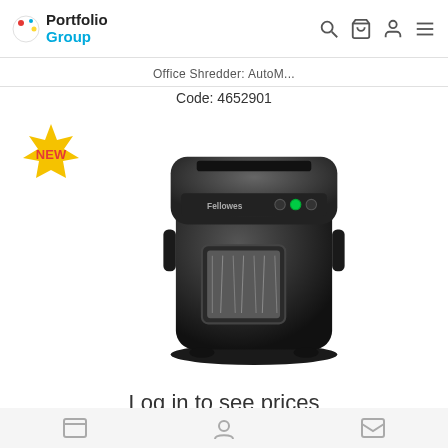Portfolio Group
Office Shredder: AutoM...
Code: 4652901
[Figure (photo): NEW badge sticker in gold/yellow with red NEW text]
[Figure (photo): Fellowes black office shredder product photo, auto-feed model]
Log in to see prices